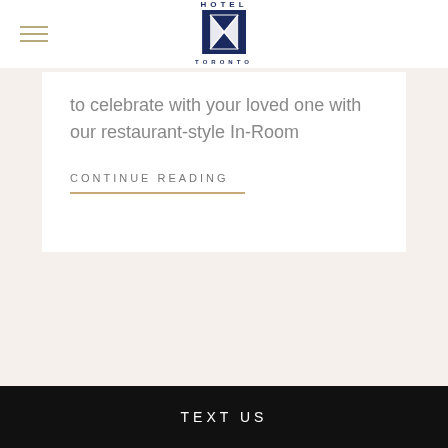[Figure (logo): Hotel X Toronto logo — navy blue X with triangular geometric shapes, with 'HOTEL' text above and 'TORONTO' text below]
to celebrate with your loved one with our restaurant-style In-Room
CONTINUE READING
TEXT US